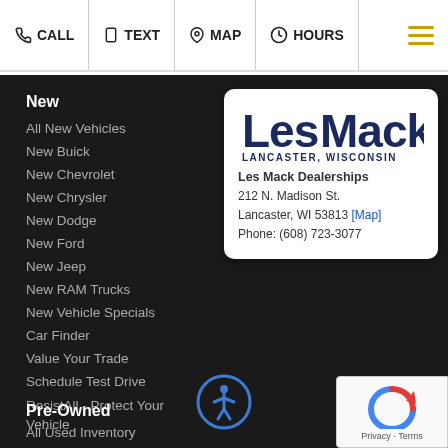CALL  TEXT  MAP  HOURS
New
All New Vehicles
New Buick
New Chevrolet
New Chrysler
New Dodge
New Ford
New Jeep
New RAM Trucks
New Vehicle Specials
Car Finder
Value Your Trade
Schedule Test Drive
ResistAll - Protect Your Vehicle
[Figure (logo): Les Mack Lancaster, Wisconsin dealership logo and contact card. Address: 212 N. Madison St., Lancaster, WI 53813. Phone: (608) 723-3077]
Pre-Owned
All Used Inventory
[Figure (illustration): Accessibility icon - person in circle outline]
[Figure (other): reCAPTCHA badge - Privacy · Terms]